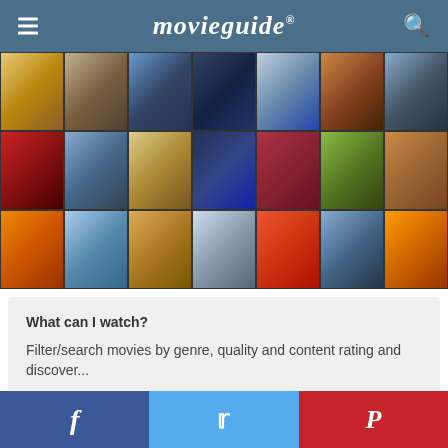movieguide®
[Figure (photo): Collage of movie poster images arranged in a grid of 3 rows and 7 columns, showing various film titles including Enchanted, The Perfect Family, Miracle, Only Brave, Beautifully Broken, Faith Like Potatoes, Holidays, Dear Santa, Tangled, Awesome-ish, Summer, Overcomer, Playing with Fire, and others.]
What can I watch?
Filter/search movies by genre, quality and content rating and discover...
Facebook | Twitter | Pinterest